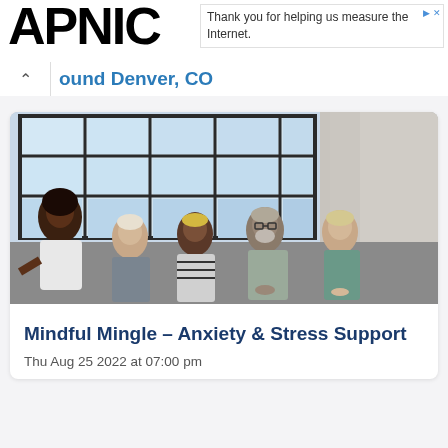APNIC
Thank you for helping us measure the Internet.
ound Denver, CO
[Figure (photo): Five people sitting against a wall with large industrial windows behind them, appearing to be in a group meditation or mindfulness session. A woman on the left in white is gesturing while others sit with hands resting, in a bright concrete room.]
Mindful Mingle - Anxiety & Stress Support
Thu Aug 25 2022 at 07:00 pm